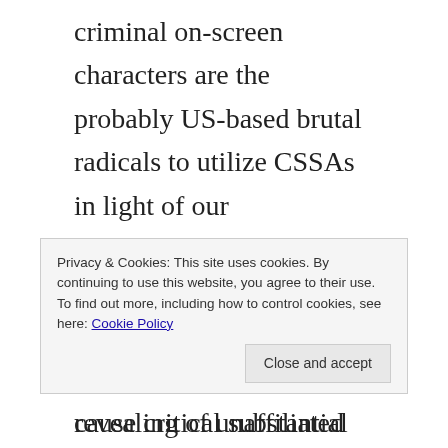criminal on-screen characters are the probably US-based brutal radicals to utilize CSSAs in light of our examination of over a significant time span DT utilization of this strategy and on open source revealing of unaffiliated criminal performing artists utilizing acids, harmful mechanical chemicals, and other substance crippling specialists in assaults in the Country. They have utilized CSSA strategies against law requirement, foundations, ideological adversaries, dissenters, and mass get-togethers, particularly those related with political or social causes, in light of an
Privacy & Cookies: This site uses cookies. By continuing to use this website, you agree to their use.
To find out more, including how to control cookies, see here: Cookie Policy
Close and accept
that household CSSAs can cause critical substantial